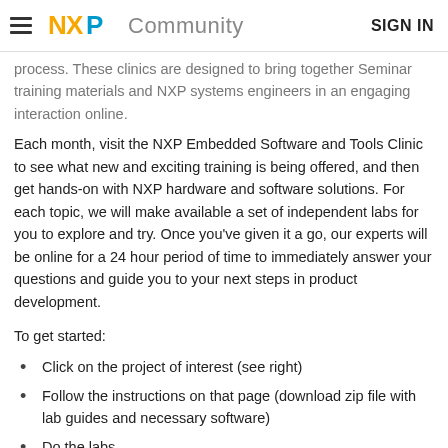NXP Community  SIGN IN
process. These clinics are designed to bring together Seminar training materials and NXP systems engineers in an engaging interaction online.
Each month, visit the NXP Embedded Software and Tools Clinic to see what new and exciting training is being offered, and then get hands-on with NXP hardware and software solutions. For each topic, we will make available a set of independent labs for you to explore and try. Once you've given it a go, our experts will be online for a 24 hour period of time to immediately answer your questions and guide you to your next steps in product development.
To get started:
Click on the project of interest (see right)
Follow the instructions on that page (download zip file with lab guides and necessary software)
Do the labs
Interact with NXP experts online during the 24 hour window stated in the project.